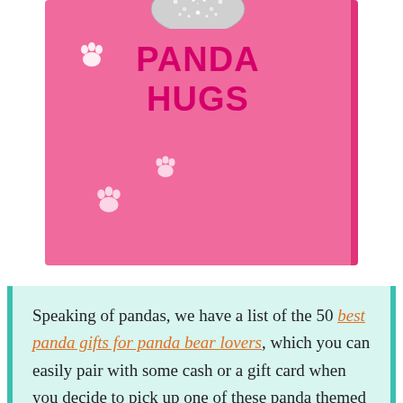[Figure (photo): Pink hardcover book titled 'PANDA HUGS' with a rhinestone/crystal panda face at the top, white paw print decorations, and a hot pink spine. The book cover is bright pink with darker pink bold text.]
Speaking of pandas, we have a list of the 50 best panda gifts for panda bear lovers, which you can easily pair with some cash or a gift card when you decide to pick up one of these panda themed gifts.